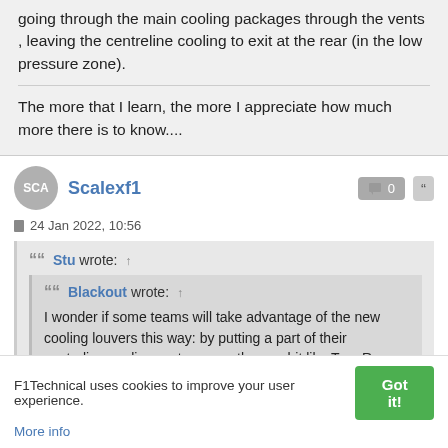going through the main cooling packages through the vents , leaving the centreline cooling to exit at the rear (in the low pressure zone).
The more that I learn, the more I appreciate how much more there is to know....
Scalexf1
24 Jan 2022, 10:56
Stu wrote: ↑
Blackout wrote: ↑ I wonder if some teams will take advantage of the new cooling louvers this way: by putting a part of their centerline cooling system near them, a bit like Toro Rosso between 2014 and 2018, in order to close the rear exits more, and lower the COG
F1Technical uses cookies to improve your user experience. More info